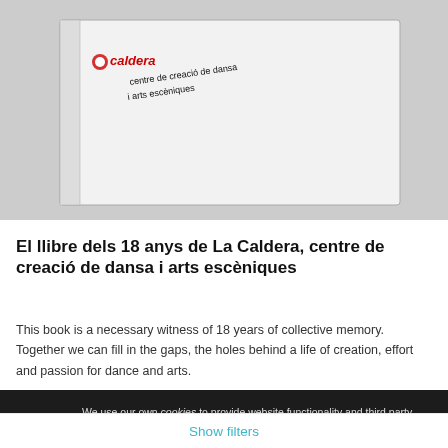[Figure (photo): Photo of a white book/box with 'La Caldera centre de creació de dansa i arts escèniques' text on the cover, with red and black logo]
El llibre dels 18 anys de La Caldera, centre de creació de dansa i arts escèniques
This book is a necessary witness of 18 years of collective memory. Together we can fill in the gaps, the holes behind a life of creation, effort and passion for dance and arts.
We use our own cookies to provide website functionality and third party cookies to analyze traffic and serve targeted advertisements based on your surfing habits. You can accept all cookies by clicking "Accept" or obtain more information and set your preferences here.
Accept
Show filters